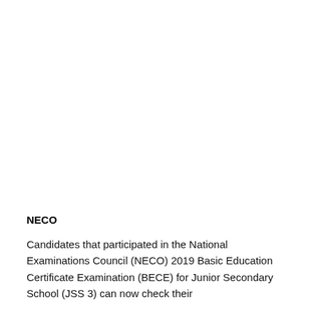NECO
Candidates that participated in the National Examinations Council (NECO) 2019 Basic Education Certificate Examination (BECE) for Junior Secondary School (JSS 3) can now check their